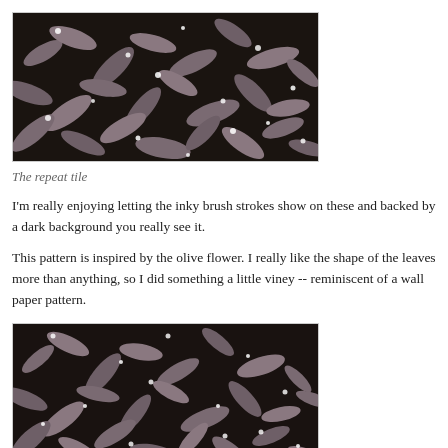[Figure (illustration): Repeat tile of a dark background floral/botanical pattern with olive-inspired leaves and small white flowers, rendered with inky brush strokes in muted mauve and grey tones.]
The repeat tile
I'm really enjoying letting the inky brush strokes show on these and backed by a dark background you really see it.
This pattern is inspired by the olive flower. I really like the shape of the leaves more than anything, so I did something a little viney -- reminiscent of a wall paper pattern.
[Figure (illustration): A second view or variation of the dark botanical/floral repeat pattern, similar dense leafy design with small white flowers on a very dark background.]